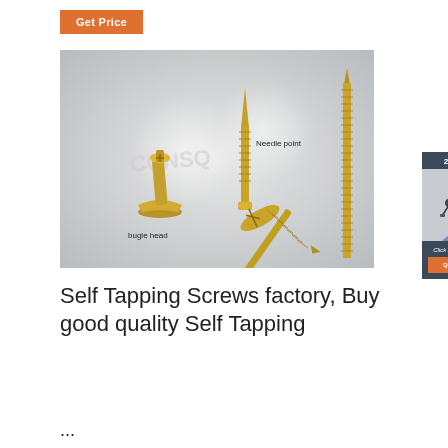Get Price
[Figure (photo): Product photo showing gold/brass self-tapping screws: a bugle head screw, a needle point screw, a flat countersunk screw, and a long full-length screw, with labels 'Needle point' and 'bugle head'. Overlaid with a semi-transparent watermark logo. Alongside is a sidebar panel with a customer service agent (woman with headset) and text '24/7 Online', 'Click here for free chat!', and a QUOTATION button.]
Self Tapping Screws factory, Buy good quality Self Tapping
...